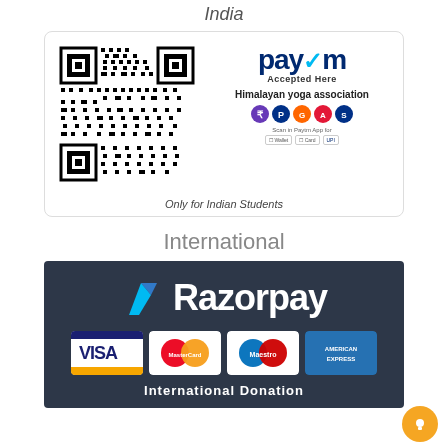India
[Figure (infographic): Paytm QR code payment card showing QR code on left and Paytm logo with 'Accepted Here', Himalayan yoga association, payment icons, and scan options on right. Bottom text: Only for Indian Students.]
International
[Figure (infographic): Razorpay dark card with logo, VISA, MasterCard, Maestro, American Express card logos, and 'International Donation' text at bottom.]